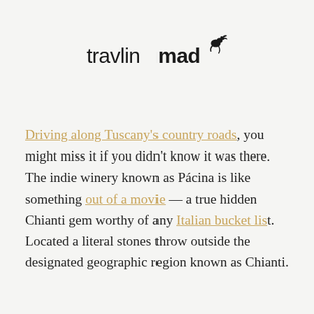[Figure (logo): travlinmad logo with animal silhouette on the letter d]
Driving along Tuscany's country roads, you might miss it if you didn't know it was there. The indie winery known as Pácina is like something out of a movie — a true hidden Chianti gem worthy of any Italian bucket list. Located a literal stones throw outside the designated geographic region known as Chianti.